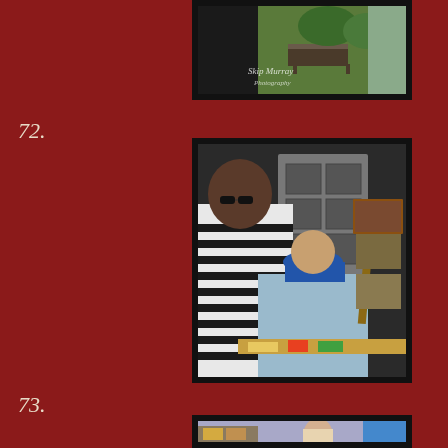[Figure (photo): Top partial photo showing a park bench and greenery with Skip Murray Photography watermark]
72.
[Figure (photo): Photo of a woman in a black and white striped shirt and a man in a blue cap painting at an easel near a Welcome sign]
73.
[Figure (photo): Bottom partial photo showing a young girl and other people at an outdoor art event]